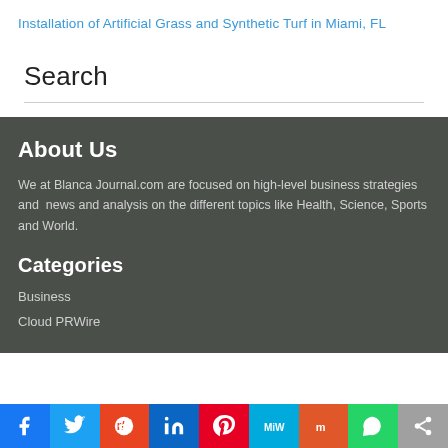Installation of Artificial Grass and Synthetic Turf in Miami, FL
Search
About Us
We at Blanca Journal.com are focused on high-level business strategies and news and analysis on the different topics like Health, Science, Sports and World.
Categories
Business
Cloud PRWire